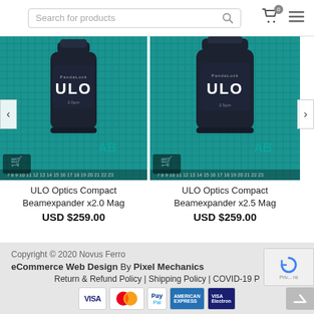[Figure (screenshot): E-commerce website page header with search bar, cart icon with badge showing 0, and hamburger menu icon]
[Figure (photo): ULO Optics Compact Beamexpander product photo on teal grid cutting mat background]
ULO Optics Compact Beamexpander x2.0 Mag
USD $259.00
[Figure (photo): ULO Optics Compact Beamexpander x2.5 Mag product photo on teal grid cutting mat background]
ULO Optics Compact Beamexpander x2.5 Mag
USD $259.00
Copyright © 2020 Novus Ferro
eCommerce Web Design By Pixel Mechanics
Return & Refund Policy | Shipping Policy | COVID-19 P...